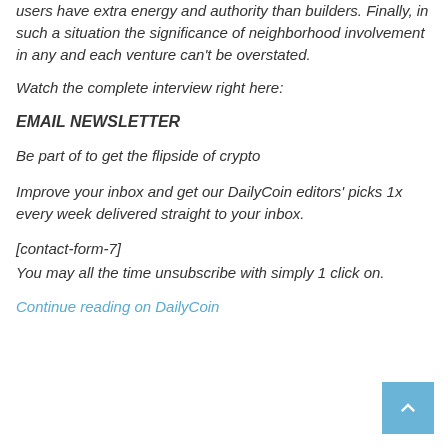users have extra energy and authority than builders. Finally, in such a situation the significance of neighborhood involvement in any and each venture can't be overstated.
Watch the complete interview right here:
EMAIL NEWSLETTER
Be part of to get the flipside of crypto
Improve your inbox and get our DailyCoin editors' picks 1x every week delivered straight to your inbox.
[contact-form-7]
You may all the time unsubscribe with simply 1 click on.
Continue reading on DailyCoin